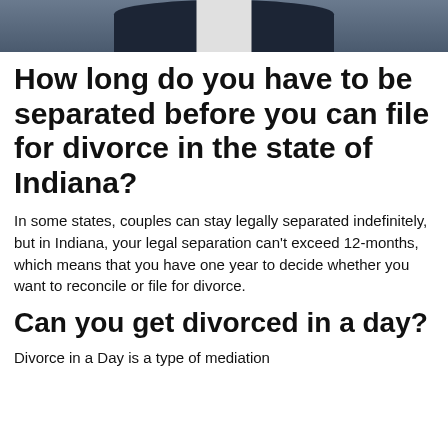[Figure (photo): Partial photo of a person in a dark suit and light shirt, cropped to show torso/shoulders at the top of the page]
How long do you have to be separated before you can file for divorce in the state of Indiana?
In some states, couples can stay legally separated indefinitely, but in Indiana, your legal separation can't exceed 12-months, which means that you have one year to decide whether you want to reconcile or file for divorce.
Can you get divorced in a day?
Divorce in a Day is a type of mediation